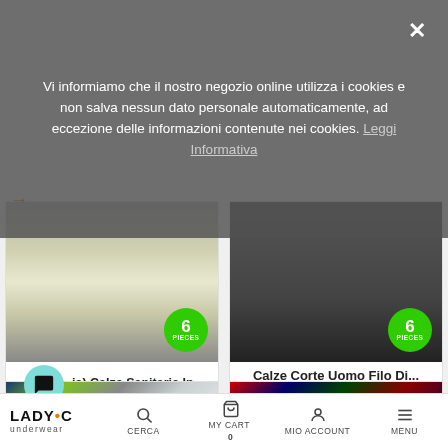Vi informiamo che il nostro negozio online utilizza i cookies e non salva nessun dato personale automaticamente, ad eccezione delle informazioni contenute nei cookies. Leggi Informativa
[Figure (photo): Product card: multiple socks fanned out in various colors (navy, grey, cream, green tones) with a green '6 PIECES' badge. Product name: (ia) Calze Sanitarie In... Price: €39.99. Color swatches: blue, dark grey, yellow.]
[Figure (photo): Product card: dark brown/black ankle sock on white background with a green '6 PIECES' badge. Product name: Calze Corte Uomo Filo Di... Price: €15.00. Color swatches: black, blue, black.]
[Figure (photo): Product card (partial): colorful sports socks folded, showing blue, yellow-green, grey tones.]
[Figure (photo): Product card (partial): colorful sports socks folded, showing red, blue, green, dark tones.]
LADY•C underwear | CERCA | MY CART 0 | MIO ACCOUNT | MENU